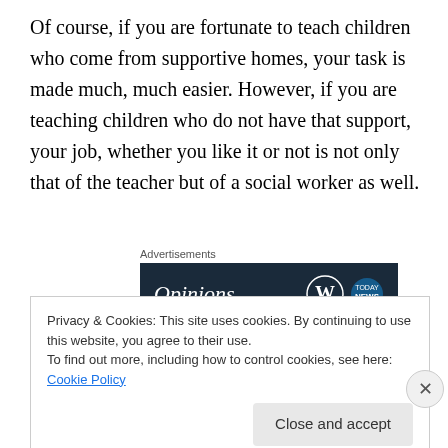Of course, if you are fortunate to teach children who come from supportive homes, your task is made much, much easier. However, if you are teaching children who do not have that support, your job, whether you like it or not is not only that of the teacher but of a social worker as well.
[Figure (screenshot): Advertisement banner with dark navy background showing the word 'Opinions.' in white italic text alongside WordPress and news outlet logos.]
In that perspective the one thing you do not want is someone coming from outside with no insight, vision,
Privacy & Cookies: This site uses cookies. By continuing to use this website, you agree to their use.
To find out more, including how to control cookies, see here: Cookie Policy